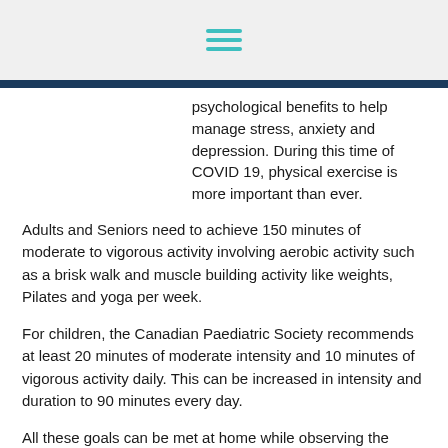[hamburger menu icon]
psychological benefits to help manage stress, anxiety and depression. During this time of COVID 19, physical exercise is more important than ever.
Adults and Seniors need to achieve 150 minutes of moderate to vigorous activity involving aerobic activity such as a brisk walk and muscle building activity like weights, Pilates and yoga per week.
For children, the Canadian Paediatric Society recommends at least 20 minutes of moderate intensity and 10 minutes of vigorous activity daily. This can be increased in intensity and duration to 90 minutes every day.
All these goals can be met at home while observing the important physical distancing guidelines of the time...